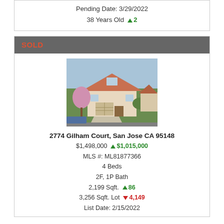Pending Date: 3/29/2022
38 Years Old ▲ 2
SOLD
[Figure (photo): Aerial/elevated view of a two-story residential home at 2774 Gilham Court, San Jose CA 95148, with pink blooming trees in driveway area.]
2774 Gilham Court, San Jose CA 95148
$1,498,000 ▲ $1,015,000
MLS #: ML81877366
4 Beds
2F, 1P Bath
2,199 Sqft. ▲ 86
3,256 Sqft. Lot ▼ 4,149
List Date: 2/15/2022